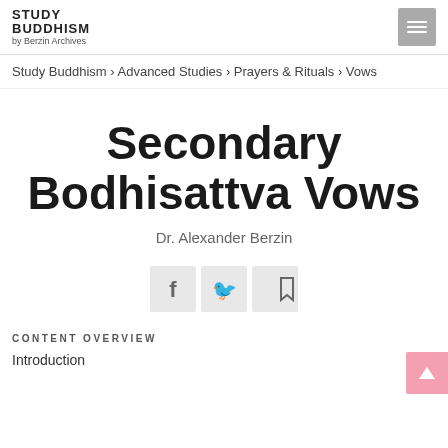STUDY BUDDHISM by Berzin Archives
Study Buddhism › Advanced Studies › Prayers & Rituals › Vows
Secondary Bodhisattva Vows
Dr. Alexander Berzin
[Figure (infographic): Social sharing buttons: Facebook, Twitter, Bookmark]
CONTENT OVERVIEW
Introduction